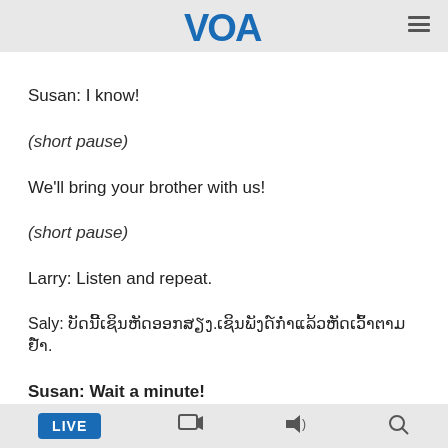VOA
Susan: I know!
(short pause)
We'll bring your brother with us!
(short pause)
Larry: Listen and repeat.
Saly: ບັດນີ້ເຊິນຫັດອອກສຽງ.ເຊິນພັງດ໌ກ່ຳແລ້ວຫັດເວົ້າຕາມຢ໌ຳ.
Susan: Wait a minute!
(pause for repeat)
LIVE